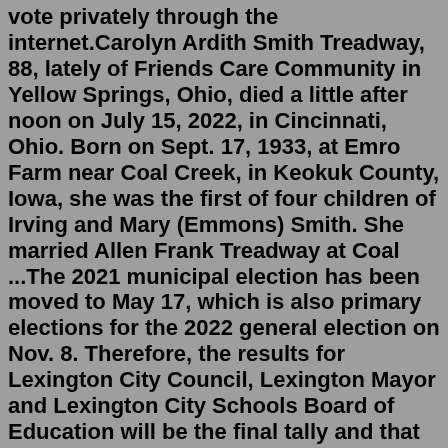vote privately through the internet.Carolyn Ardith Smith Treadway, 88, lately of Friends Care Community in Yellow Springs, Ohio, died a little after noon on July 15, 2022, in Cincinnati, Ohio. Born on Sept. 17, 1933, at Emro Farm near Coal Creek, in Keokuk County, Iowa, she was the first of four children of Irving and Mary (Emmons) Smith. She married Allen Frank Treadway at Coal ...The 2021 municipal election has been moved to May 17, which is also primary elections for the 2022 general election on Nov. 8. Therefore, the results for Lexington City Council, Lexington Mayor and Lexington City Schools Board of Education will be the final tally and that person has won that seat.Uttar Pradesh Results 2022: Uttar Pradesh Chief Minister Yogi Adityanath is set to become the first incumbent returning to power after serving a full term. The BJP registered an emphatic win in Uttar Pradesh and has already crossed the 270 mark.Election 2020: Classroom and family discussions during a contentious election year can be difficult, but all students should have a safe